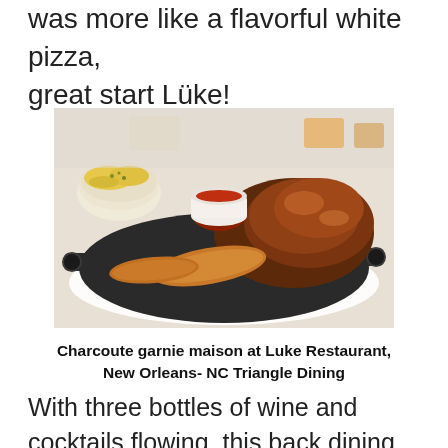was more like a flavorful white pizza, great start Lüke!
[Figure (photo): A cast iron skillet platter with choucroute garnie — sausages, braised meats, and a small cup of red sauce, accompanied by a side bowl of creamed corn, served on a white tablecloth.]
Charcoute garnie maison at Luke Restaurant, New Orleans- NC Triangle Dining
With three bottles of wine and cocktails flowing, this back dining room can get a bit loud but not to worry cause the food is great so far! My main entree of choucroute garnie